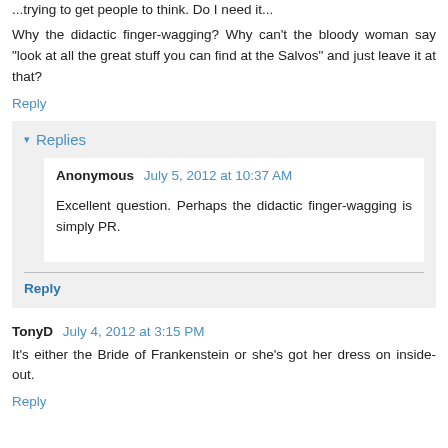...trying to get people to think. Do I need it...
Why the didactic finger-wagging? Why can't the bloody woman say "look at all the great stuff you can find at the Salvos" and just leave it at that?
Reply
Replies
Anonymous July 5, 2012 at 10:37 AM
Excellent question. Perhaps the didactic finger-wagging is simply PR.
Reply
TonyD July 4, 2012 at 3:15 PM
It's either the Bride of Frankenstein or she's got her dress on inside-out.
Reply